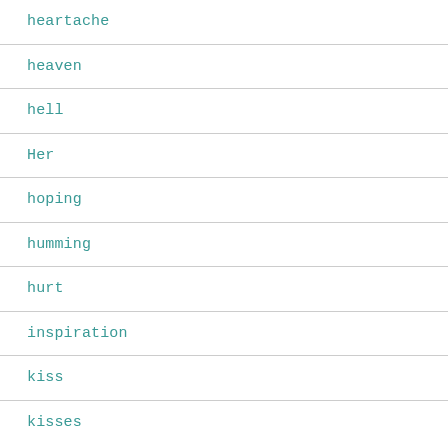heartache
heaven
hell
Her
hoping
humming
hurt
inspiration
kiss
kisses